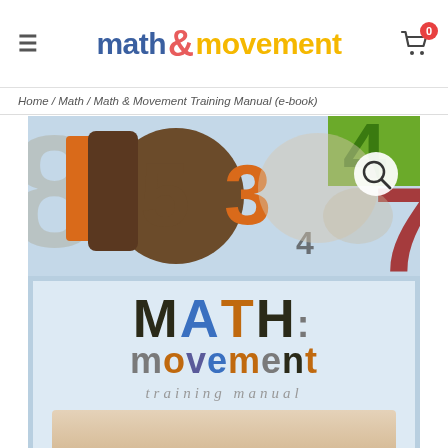math & movement (logo) | hamburger menu | cart (0)
Home / Math / Math & Movement Training Manual (e-book)
[Figure (photo): Math & Movement Training Manual e-book product page screenshot showing colorful number collage on top half and book cover title 'MATH movement training manual' on bottom half with a search icon overlay]